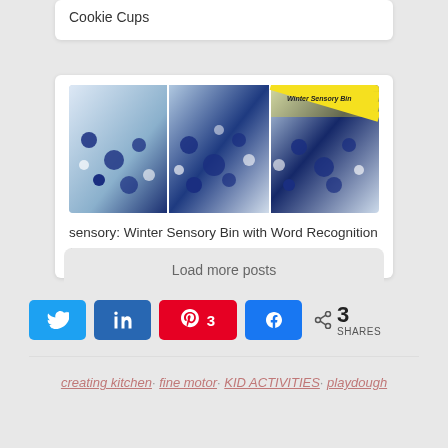Cookie Cups
[Figure (photo): Three-panel collage image of a Winter Sensory Bin with blue and white elements, with a yellow striped banner overlay on the right panel]
sensory: Winter Sensory Bin with Word Recognition {Kids Winter Holiday Hop}
Load more posts
[Figure (infographic): Social share buttons: Twitter (blue), LinkedIn (dark blue), Pinterest (red) with count 3, Facebook (blue), and share icon with 3 SHARES total]
creating kitchen· fine motor· KID ACTIVITIES· playdough